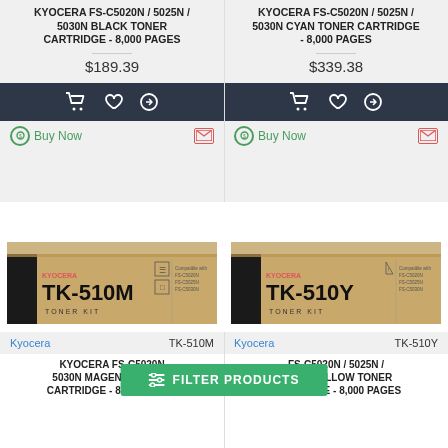KYOCERA FS-C5020N / 5025N / 5030N BLACK TONER CARTRIDGE - 8,000 PAGES
$189.39
KYOCERA FS-C5020N / 5025N / 5030N CYAN TONER CARTRIDGE - 8,000 PAGES
$339.38
[Figure (photo): Kyocera TK-510M Toner Kit box product image]
Kyocera   TK-510M
[Figure (photo): Kyocera TK-510Y Toner Kit box product image]
Kyocera   TK-510Y
KYOCERA FS-C5020N / 5025N / 5030N MAGENTA TONER CARTRIDGE - 8,000 PAGES
FS-C5020N / 5025N / 5030N YELLOW TONER CARTRIDGE - 8,000 PAGES